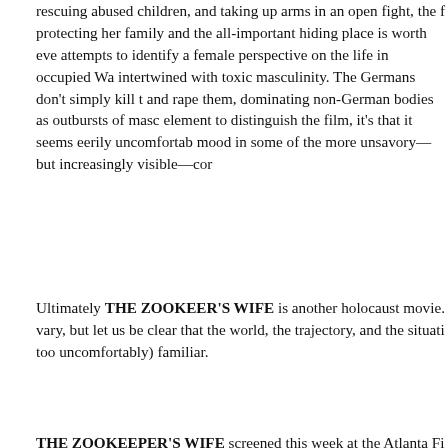rescuing abused children, and taking up arms in an open fight, the f protecting her family and the all-important hiding place is worth eve attempts to identify a female perspective on the life in occupied Wa intertwined with toxic masculinity. The Germans don't simply kill t and rape them, dominating non-German bodies as outbursts of masc element to distinguish the film, it's that it seems eerily uncomfortab mood in some of the more unsavory—but increasingly visible—cor
Ultimately THE ZOOKEEPER'S WIFE is another holocaust movie. vary, but let us be clear that the world, the trajectory, and the situati too uncomfortably) familiar.
THE ZOOKEEPER'S WIFE screened this week at the Atlanta Fi information, check out the official site.
Category: Retro Review | Tags: aff, Andrew Kemp, Atlanta Film Festival, holocaust, jes whale rider
AFFRetro Review: Skateboards, Jet Packs Spook Show Stars: SPRING BREAK ZOM Graveyard Smash!